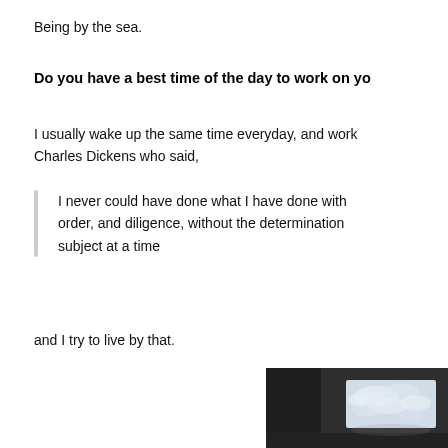Being by the sea.
Do you have a best time of the day to work on yo
I usually wake up the same time everyday, and work... Charles Dickens who said,
I never could have done what I have done with... order, and diligence, without the determination... subject at a time
and I try to live by that.
[Figure (photo): Dark gallery room interior with a large glowing canvas or light box displaying a cloudy sky, mounted against a corner wall.]